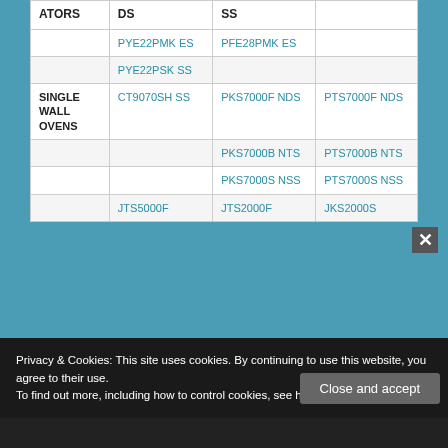| ATORS | DS | SS |  |
| --- | --- | --- | --- |
|  | PYE22PMKES | PFE28PMKES |  |
|  | PYE22PSKSS |  |  |
| SINGLE WALL OVENS | CT9070SHSS | PKS7000FNDS | PTS7000FNDS |
|  |  | PKS7000BNTS | PTS7000BNTS |
|  |  | PKS7000SNSS | PTS7000SNSS |
|  | JTS5000F | JTS2000F | JKS2000S |
Privacy & Cookies: This site uses cookies. By continuing to use this website, you agree to their use. To find out more, including how to control cookies, see here: Cookie Policy